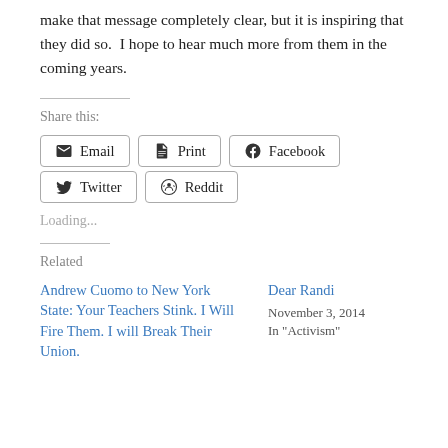make that message completely clear, but it is inspiring that they did so.  I hope to hear much more from them in the coming years.
Share this:
[Figure (other): Share buttons: Email, Print, Facebook, Twitter, Reddit]
Loading...
Related
Andrew Cuomo to New York State: Your Teachers Stink. I Will Fire Them. I will Break Their Union.
Dear Randi
November 3, 2014
In "Activism"